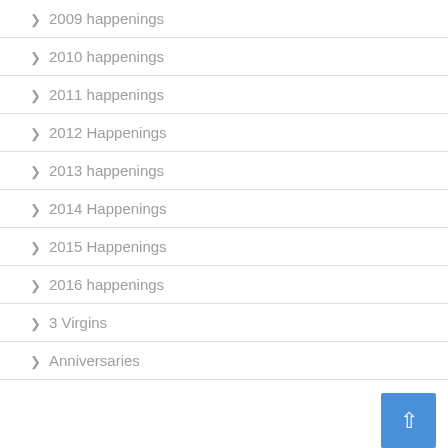2009 happenings
2010 happenings
2011 happenings
2012 Happenings
2013 happenings
2014 Happenings
2015 Happenings
2016 happenings
3 Virgins
Anniversaries